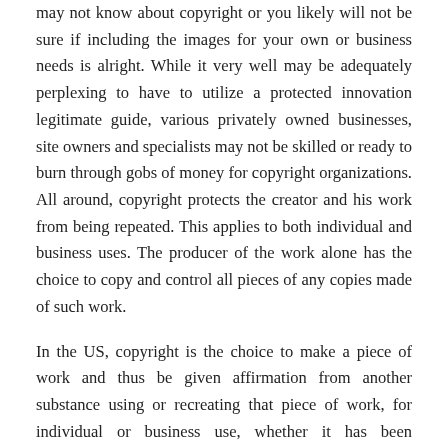may not know about copyright or you likely will not be sure if including the images for your own or business needs is alright. While it very well may be adequately perplexing to have to utilize a protected innovation legitimate guide, various privately owned businesses, site owners and specialists may not be skilled or ready to burn through gobs of money for copyright organizations. All around, copyright protects the creator and his work from being repeated. This applies to both individual and business uses. The producer of the work alone has the choice to copy and control all pieces of any copies made of such work.
In the US, copyright is the choice to make a piece of work and thus be given affirmation from another substance using or recreating that piece of work, for individual or business use, whether it has been disseminated or joined up. All countries have their own licensed innovation guidelines, and those guidelines ought to be agreed to by any person